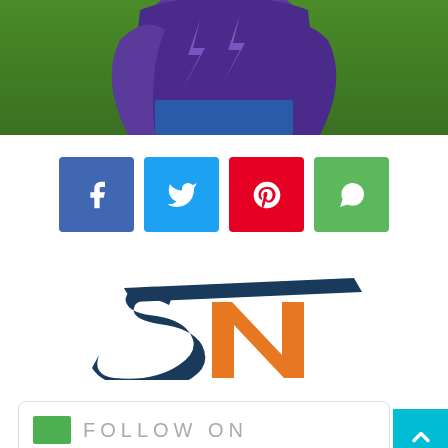[Figure (photo): Sports player in purple/blue jersey on green field background, cropped to show torso and arms]
[Figure (infographic): Four social media share buttons: Facebook (blue), Twitter (light blue), Pinterest (red), WhatsApp (green)]
[Figure (logo): SN (Sportsnet or similar) logo in dark blue and orange colors, stylized letters S and N]
[Figure (infographic): Follow On section bar at bottom with small flag icon, and cyan back-to-top arrow button at bottom right]